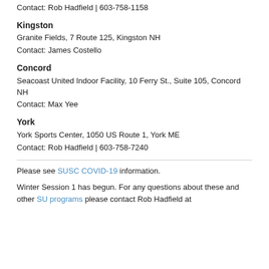Contact: Rob Hadfield | 603-758-1158
Kingston
Granite Fields, 7 Route 125, Kingston NH
Contact: James Costello
Concord
Seacoast United Indoor Facility, 10 Ferry St., Suite 105, Concord NH
Contact: Max Yee
York
York Sports Center, 1050 US Route 1, York ME
Contact: Rob Hadfield | 603-758-7240
Please see SUSC COVID-19 information.
Winter Session 1 has begun. For any questions about these and other SU programs please contact Rob Hadfield at